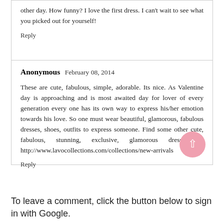other day. How funny? I love the first dress. I can't wait to see what you picked out for yourself!
Reply
Anonymous  February 08, 2014
These are cute, fabulous, simple, adorable. Its nice. As Valentine day is approaching and is most awaited day for lover of every generation every one has its own way to express his/her emotion towards his love. So one must wear beautiful, glamorous, fabulous dresses, shoes, outfits to express someone. Find some other cute, fabulous, stunning, exclusive, glamorous dresses at http://www.lavocollections.com/collections/new-arrivals
Reply
To leave a comment, click the button below to sign in with Google.